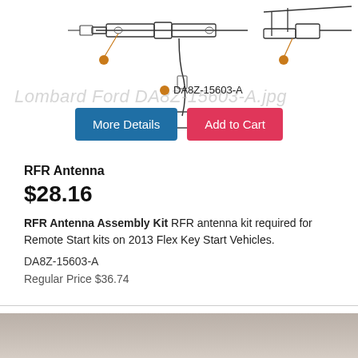[Figure (schematic): Technical schematic/exploded diagram of an antenna assembly with orange dot callouts and connector components shown as line art]
DA8Z-15603-A
More Details | Add to Cart
RFR Antenna
$28.16
RFR Antenna Assembly Kit RFR antenna kit required for Remote Start kits on 2013 Flex Key Start Vehicles.
DA8Z-15603-A
Regular Price $36.74
[Figure (photo): Bottom portion of a photo showing a gray/beige automotive interior or surface]